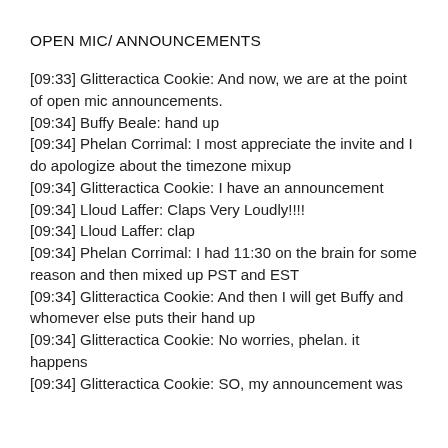OPEN MIC/ ANNOUNCEMENTS
[09:33] Glitteractica Cookie: And now, we are at the point of open mic announcements.
[09:34] Buffy Beale: hand up
[09:34] Phelan Corrimal: I most appreciate the invite and I do apologize about the timezone mixup
[09:34] Glitteractica Cookie: I have an announcement
[09:34] Lloud Laffer: Claps Very Loudly!!!!
[09:34] Lloud Laffer: clap
[09:34] Phelan Corrimal: I had 11:30 on the brain for some reason and then mixed up PST and EST
[09:34] Glitteractica Cookie: And then I will get Buffy and whomever else puts their hand up
[09:34] Glitteractica Cookie: No worries, phelan. it happens
[09:34] Glitteractica Cookie: SO, my announcement was